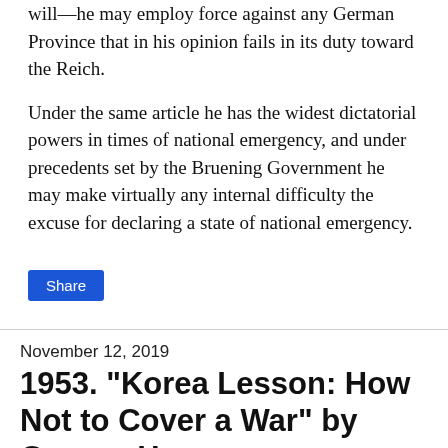will—he may employ force against any German Province that in his opinion fails in its duty toward the Reich.
Under the same article he has the widest dictatorial powers in times of national emergency, and under precedents set by the Bruening Government he may make virtually any internal difficulty the excuse for declaring a state of national emergency.
Share
November 12, 2019
1953. "Korea Lesson: How Not to Cover a War" by George Herman
CBS Radio Correspondent George Herman